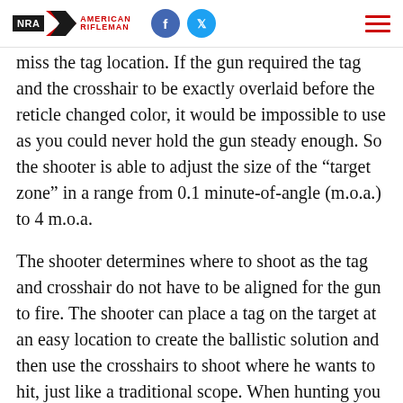NRA American Rifleman
miss the tag location. If the gun required the tag and the crosshair to be exactly overlaid before the reticle changed color, it would be impossible to use as you could never hold the gun steady enough. So the shooter is able to adjust the size of the “target zone” in a range from 0.1 minute-of-angle (m.o.a.) to 4 m.o.a.
The shooter determines where to shoot as the tag and crosshair do not have to be aligned for the gun to fire. The shooter can place a tag on the target at an easy location to create the ballistic solution and then use the crosshairs to shoot where he wants to hit, just like a traditional scope. When hunting you can simply tag a deer any place the tag will stick to